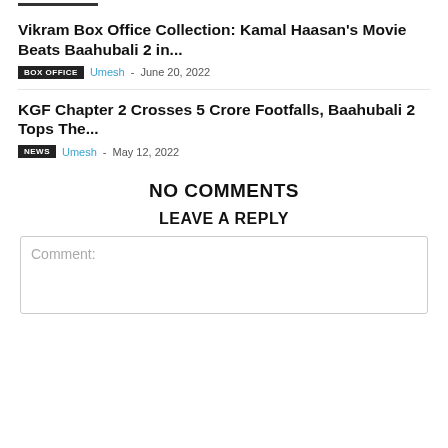Vikram Box Office Collection: Kamal Haasan's Movie Beats Baahubali 2 in...
BOX OFFICE  Umesh - June 20, 2022
KGF Chapter 2 Crosses 5 Crore Footfalls, Baahubali 2 Tops The...
NEWS  Umesh - May 12, 2022
NO COMMENTS
LEAVE A REPLY
Comment: